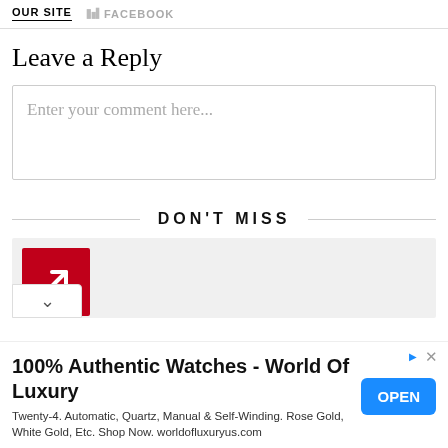OUR SITE   FACEBOOK
Leave a Reply
Enter your comment here...
DON'T MISS
[Figure (screenshot): Card with red trending/arrow icon on grey background with chevron toggle]
[Figure (screenshot): Advertisement banner: 100% Authentic Watches - World Of Luxury. Twenty-4. Automatic, Quartz, Manual & Self-Winding. Rose Gold, White Gold, Etc. Shop Now. worldofluxuryus.com. With OPEN button.]